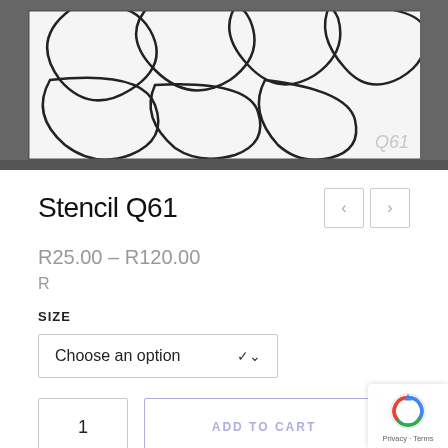[Figure (photo): Photo of Stencil Q61 product — white stencil sheet with curved flower/petal outlines, placed in a dark frame/tray. Watermark 'Q61' visible in bottom right corner.]
Stencil Q61
R25.00 – R120.00
R
SIZE
Choose an option
1
ADD TO CART